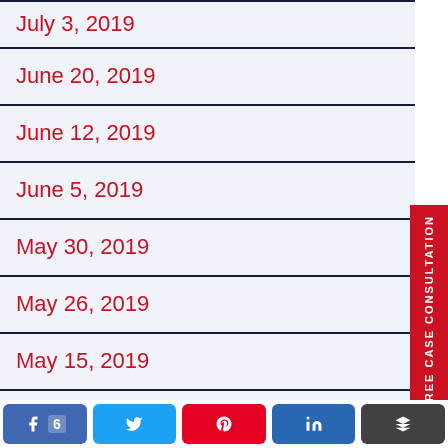July 3, 2019
June 20, 2019
June 12, 2019
June 5, 2019
May 30, 2019
May 26, 2019
May 15, 2019
May 9, 2019
May 1, 2019
[Figure (other): Red vertical sidebar tab with text FREE CASE CONSULTATION and envelope icon]
Social sharing buttons: Facebook (6), Twitter, Pinterest, LinkedIn, Buffer